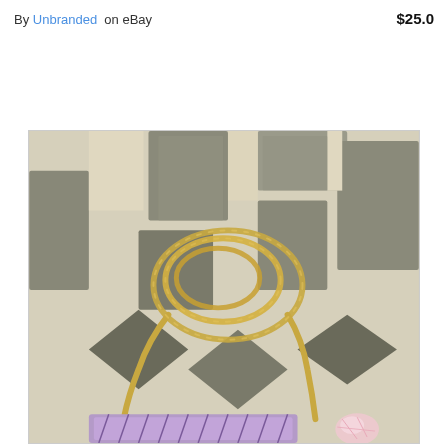By Unbranded on eBay  $25.0
[Figure (photo): A gold rope/cord necklace coiled on a textured cream and grey patterned rug/carpet background, with a purple woven item and pink crystal/stone visible at the bottom of the image. Listed for sale on eBay by Unbranded for $25.0.]